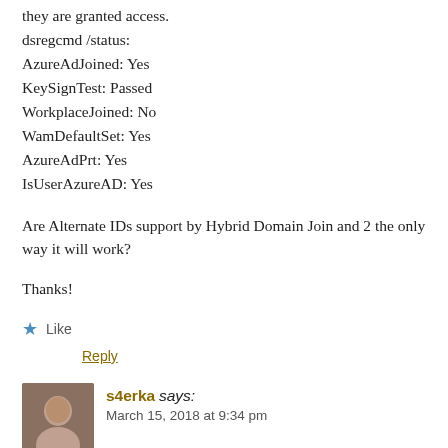they are granted access.
dsregcmd /status:
AzureAdJoined: Yes
KeySignTest: Passed
WorkplaceJoined: No
WamDefaultSet: Yes
AzureAdPrt: Yes
IsUserAzureAD: Yes
Are Alternate IDs support by Hybrid Domain Join and 2 the only way it will work?
Thanks!
Like
Reply
s4erka says:
March 15, 2018 at 9:34 pm